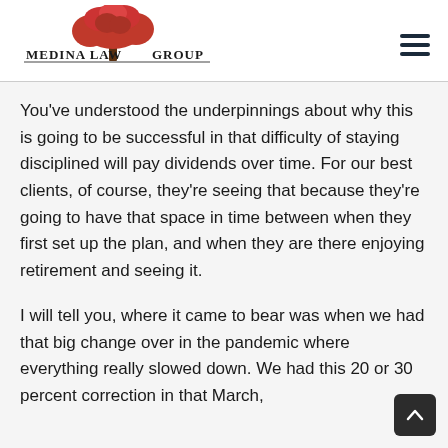[Figure (logo): Medina Law Group logo with red tree and text]
You've understood the underpinnings about why this is going to be successful in that difficulty of staying disciplined will pay dividends over time. For our best clients, of course, they're seeing that because they're going to have that space in time between when they first set up the plan, and when they are there enjoying retirement and seeing it.
I will tell you, where it came to bear was when we had that big change over in the pandemic where everything really slowed down. We had this 20 or 30 percent correction in that March,